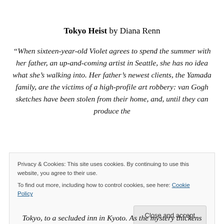Tokyo Heist by Diana Renn
“When sixteen-year-old Violet agrees to spend the summer with her father, an up-and-coming artist in Seattle, she has no idea what she’s walking into. Her father’s newest clients, the Yamada family, are the victims of a high-profile art robbery: van Gogh sketches have been stolen from their home, and, until they can produce the
Privacy & Cookies: This site uses cookies. By continuing to use this website, you agree to their use.
To find out more, including how to control cookies, see here: Cookie Policy
Tokyo, to a secluded inn in Kyoto. As the mystery thickens